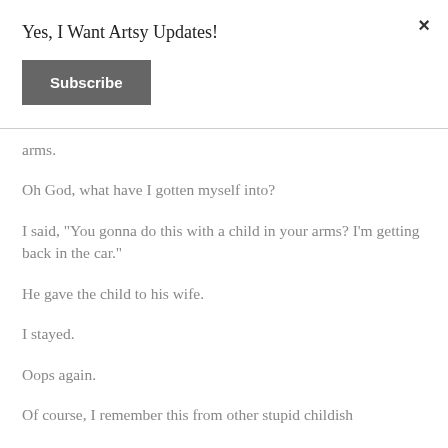×
Yes, I Want Artsy Updates!
Subscribe
arms.
Oh God, what have I gotten myself into?
I said, "You gonna do this with a child in your arms? I'm getting back in the car."
He gave the child to his wife.
I stayed.
Oops again.
Of course, I remember this from other stupid childish